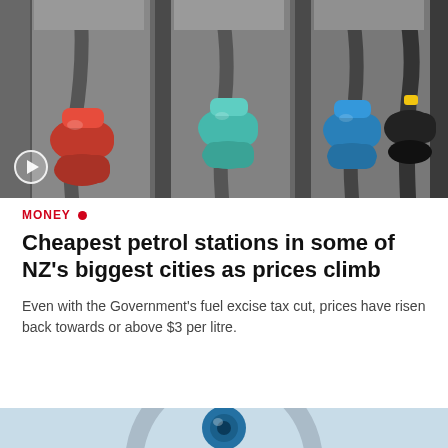[Figure (photo): Close-up photograph of multiple fuel pump nozzles in red, teal/green, and blue colors at a petrol station, with a video play button overlay in the lower left corner.]
MONEY
Cheapest petrol stations in some of NZ's biggest cities as prices climb
Even with the Government's fuel excise tax cut, prices have risen back towards or above $3 per litre.
[Figure (photo): Partial view of what appears to be a fuel gauge or meter with a blue center element, partially cut off at the bottom of the page.]